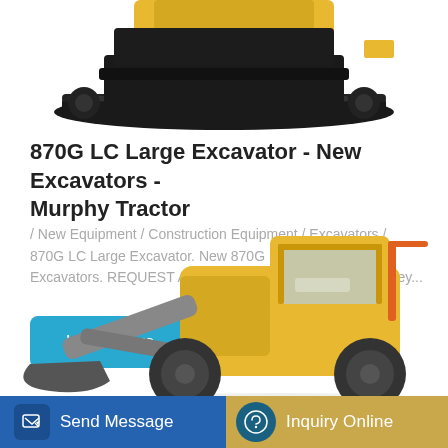[Figure (photo): Top portion of a yellow and black large excavator on tracks, cropped at top of page]
870G LC Large Excavator - New Excavators - Murphy Tractor
/ New Equipment / Construction Equipment / Excavators / 870G LC Large Excavator. New 870G LC Large Excavator. Excavators. REQUEST A QUOTE; REQUEST A QUOTE. Key...
[Figure (other): Learn More button - blue rounded rectangle with white text]
[Figure (photo): Yellow Volvo wheel loader (front loader) shown from front-right angle, partially visible at bottom of page]
[Figure (other): Bottom navigation bar with Send Message (blue, with edit icon) and Inquiry Online (tan/gold, with headset icon) buttons]